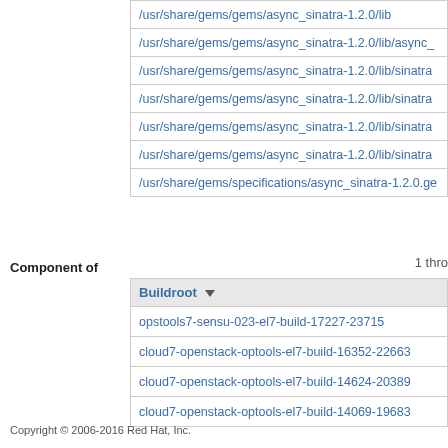| File path |
| --- |
| /usr/share/gems/gems/async_sinatra-1.2.0/lib |
| /usr/share/gems/gems/async_sinatra-1.2.0/lib/async_ |
| /usr/share/gems/gems/async_sinatra-1.2.0/lib/sinatra |
| /usr/share/gems/gems/async_sinatra-1.2.0/lib/sinatra |
| /usr/share/gems/gems/async_sinatra-1.2.0/lib/sinatra |
| /usr/share/gems/gems/async_sinatra-1.2.0/lib/sinatra |
| /usr/share/gems/specifications/async_sinatra-1.2.0.ge |
Component of
1 thro
| Buildroot ▼ |
| --- |
| opstools7-sensu-023-el7-build-17227-23715 |
| cloud7-openstack-optools-el7-build-16352-22663 |
| cloud7-openstack-optools-el7-build-14624-20389 |
| cloud7-openstack-optools-el7-build-14069-19683 |
Copyright © 2006-2016 Red Hat, Inc.